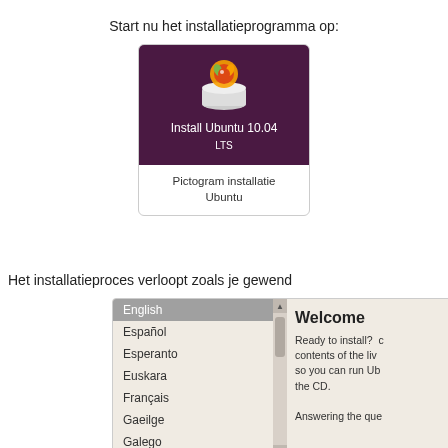Start nu het installatieprogramma op:
[Figure (screenshot): Ubuntu 10.04 LTS installation icon on dark purple background with Ubuntu logo, with caption 'Pictogram installatie Ubuntu']
Pictogram installatie Ubuntu
Het installatieproces verloopt zoals je gewend
[Figure (screenshot): Ubuntu installer welcome screen showing language list (English selected, Español, Esperanto, Euskara, Français, Gaeilge, Galego, Hrvatski, Italiano, Kurdî, Latviski, Lietuviškai) and Welcome panel with text 'Ready to install? contents of the live so you can run Ub the CD. Answering the que']